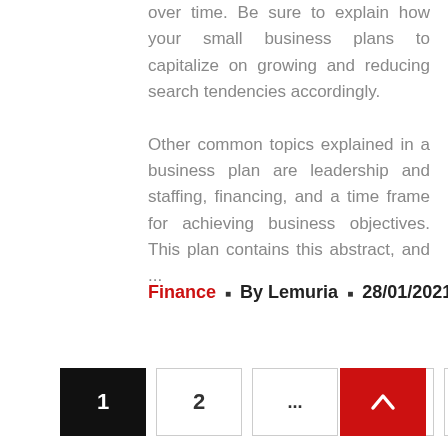products your small business offers over time. Be sure to explain how your small business plans to capitalize on growing and reducing search tendencies accordingly.
Other common topics explained in a business plan are leadership and staffing, financing, and a time frame for achieving business objectives. This plan contains this abstract, and ...
Finance · By Lemuria · 28/01/2021